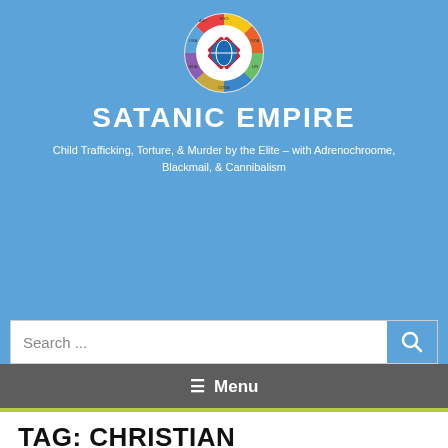[Figure (logo): Circular badge/seal logo with colored segments and a cross emblem in the center, with text labels around the ring including NGO, LIN, MDA, CONA, GOA, USA, ASC]
SATANIC EMPIRE
Child Trafficking, Torture, & Murder by the Elite – with Adrenochroome, Blackmail, & Cannibalism
Search ...
☰ Menu
TAG: CHRISTIAN